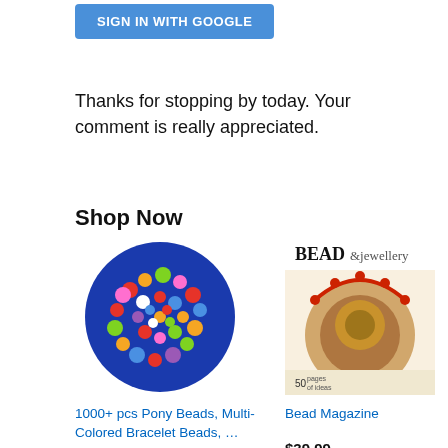[Figure (screenshot): Blue 'SIGN IN WITH GOOGLE' button]
Thanks for stopping by today. Your comment is really appreciated.
Shop Now
[Figure (photo): Circular pile of colorful pony beads]
1000+ pcs Pony Beads, Multi-Colored Bracelet Beads, …
$5.04 $5.93 ✓prime ★★★★☆ (1381)
[Figure (photo): Bead & Jewellery magazine cover]
Bead Magazine
$39.99 ★★★★☆ (61)